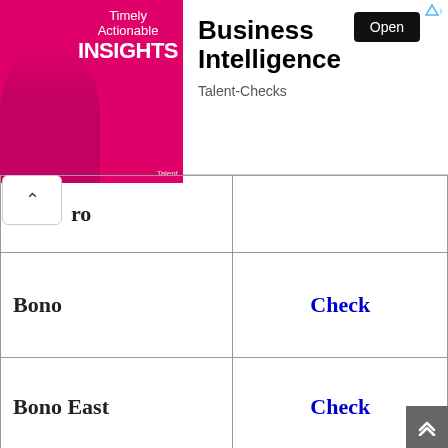[Figure (illustration): Advertisement banner for 'Business Intelligence' by Talent-Checks, showing a man with text 'Timely Actionable INSIGHTS' on pink background, with an 'Open' button.]
| Region | Action |
| --- | --- |
| ro |  |
| Bono | Check |
| Bono East | Check |
| Upper East | Check |
| Upper West | Check |
| Ashanti | Check |
|  |  |